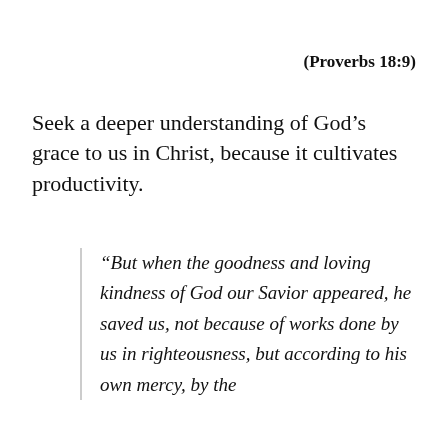(Proverbs 18:9)
Seek a deeper understanding of God’s grace to us in Christ, because it cultivates productivity.
“But when the goodness and loving kindness of God our Savior appeared, he saved us, not because of works done by us in righteousness, but according to his own mercy, by the